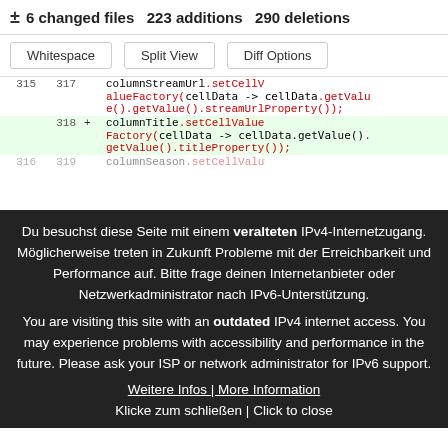± 6 changed files  223 additions  290 deletions
Whitespace | Split View | Diff Options
| old | new | +/- | code |
| --- | --- | --- | --- |
| 315 | 317 |  | columnStreamUrl.setCellValueFactory(cellData -> cellData.getValue().getValue().streamUrlProperty()); |
|  | 318 | + | columnTitle.setCellValueFactory(cellData -> cellData.getValue().getValue().titleProperty()); |
| 316 | 319 |  | columnSeason.setCellValu |
Du besuchst diese Seite mit einem veralteten IPv4-Internetzugang. Möglicherweise treten in Zukunft Probleme mit der Erreichbarkeit und Performance auf. Bitte frage deinen Internetanbieter oder Netzwerkadministrator nach IPv6-Unterstützung.
You are visiting this site with an outdated IPv4 internet access. You may experience problems with accessibility and performance in the future. Please ask your ISP or network administrator for IPv6 support.
Weitere Infos | More Information
Klicke zum schließen | Click to close